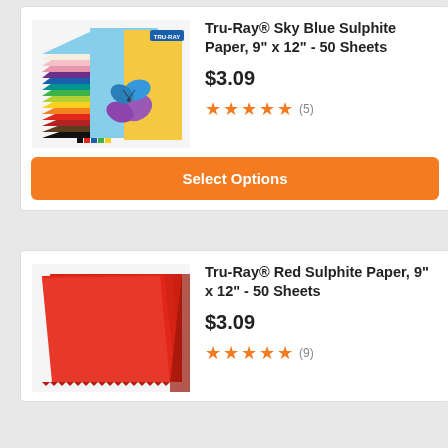[Figure (photo): Tru-Ray colored construction paper pack with butterfly decoration and fanned sheets in multiple colors]
Tru-Ray® Sky Blue Sulphite Paper, 9" x 12" - 50 Sheets
$3.09
★★★★★ (5)
Select Options
[Figure (photo): Stack of red sulphite paper sheets fanned out showing red color]
Tru-Ray® Red Sulphite Paper, 9" x 12" - 50 Sheets
$3.09
★★★★★ (9)